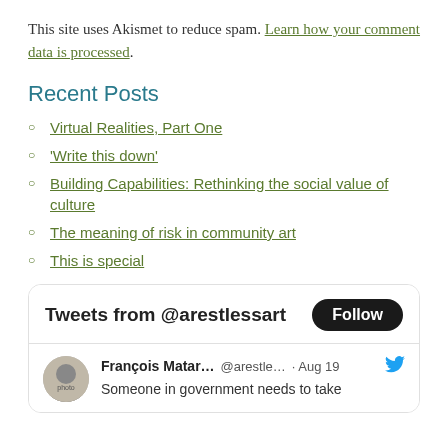This site uses Akismet to reduce spam. Learn how your comment data is processed.
Recent Posts
Virtual Realities, Part One
‘Write this down’
Building Capabilities: Rethinking the social value of culture
The meaning of risk in community art
This is special
[Figure (screenshot): Twitter widget showing 'Tweets from @arestlessart' header with Follow button, and a tweet by François Matar... @arestle... Aug 19 'Someone in government needs to take']